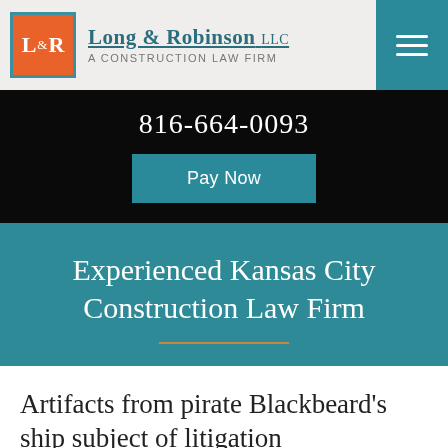Long & Robinson LLC — A Construction Law Firm
816-664-0093
Pay Now
Experienced Kansas City Construction Law Firm
Artifacts from pirate Blackbeard's ship subject of litigation